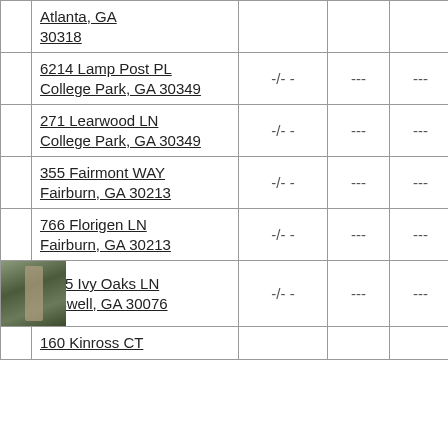|  | Address | Price |  |  |  |
| --- | --- | --- | --- | --- | --- |
|  | Atlanta, GA 30318 |  |  |  |  |
|  | 6214 Lamp Post PL
College Park, GA 30349 | -/- - | --- | --- | --- |
|  | 271 Learwood LN
College Park, GA 30349 | -/- - | --- | --- | --- |
|  | 355 Fairmont WAY
Fairburn, GA 30213 | -/- - | --- | --- | --- |
|  | 766 Florigen LN
Fairburn, GA 30213 | -/- - | --- | --- | --- |
| [photo] | 2895 Ivy Oaks LN
Roswell, GA 30076 | -/- - | --- | --- | --- |
|  | 160 Kinross CT |  |  |  |  |